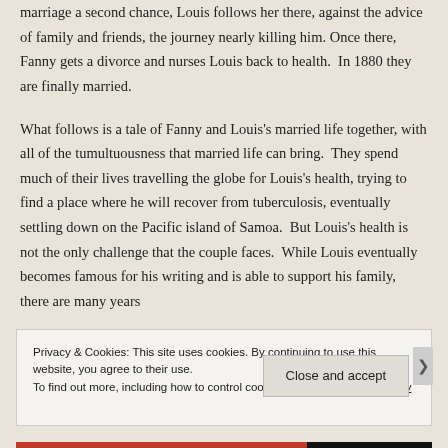marriage a second chance, Louis follows her there, against the advice of family and friends, the journey nearly killing him. Once there, Fanny gets a divorce and nurses Louis back to health. In 1880 they are finally married.
What follows is a tale of Fanny and Louis's married life together, with all of the tumultuousness that married life can bring. They spend much of their lives travelling the globe for Louis's health, trying to find a place where he will recover from tuberculosis, eventually settling down on the Pacific island of Samoa. But Louis's health is not the only challenge that the couple faces. While Louis eventually becomes famous for his writing and is able to support his family, there are many years
Privacy & Cookies: This site uses cookies. By continuing to use this website, you agree to their use.
To find out more, including how to control cookies, see here: Cookie Policy
Close and accept